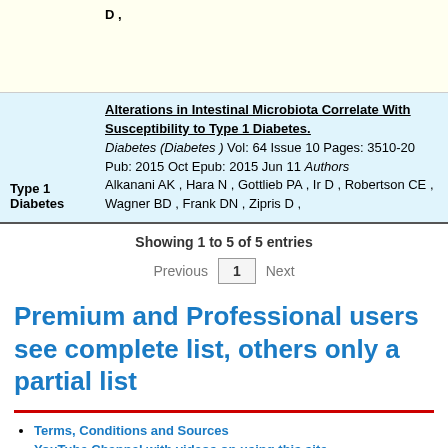D ,
Type 1 Diabetes | Alterations in Intestinal Microbiota Correlate With Susceptibility to Type 1 Diabetes. Diabetes (Diabetes ) Vol: 64 Issue 10 Pages: 3510-20 Pub: 2015 Oct Epub: 2015 Jun 11 Authors Alkanani AK , Hara N , Gottlieb PA , Ir D , Robertson CE , Wagner BD , Frank DN , Zipris D ,
Showing 1 to 5 of 5 entries
Previous 1 Next
Premium and Professional users see complete list, others only a partial list
Terms, Conditions and Sources
YouTube Channel with videos on using this site